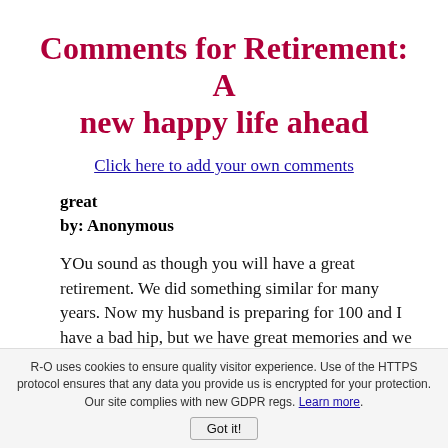Comments for Retirement: A new happy life ahead
Click here to add your own comments
great
by: Anonymous
YOu sound as though you will have a great retirement. We did something similar for many years. Now my husband is preparing for 100 and I have a bad hip, but we have great memories and we were able to share our travel with other seniors.
travel in retirement
R-O uses cookies to ensure quality visitor experience. Use of the HTTPS protocol ensures that any data you provide us is encrypted for your protection. Our site complies with new GDPR regs. Learn more.